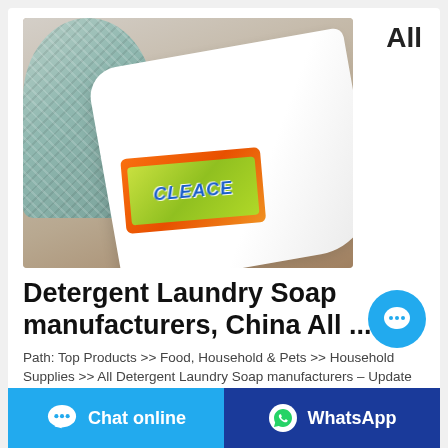[Figure (photo): Photo of a laundry soap bar (Cleace brand, yellow-green packaging in orange box) next to a woven basket and white fabric on a wooden surface. 'All' badge in top right.]
Detergent Laundry Soap manufacturers, China All ...
Path: Top Products >> Food, Household & Pets >> Household Supplies >> All Detergent Laundry Soap manufacturers – Update me on new products. 1,037 All Detergent Laundry Soap results from 237 Manufacturers. Verified Manufacturers Accepts Sample Orders Accepts